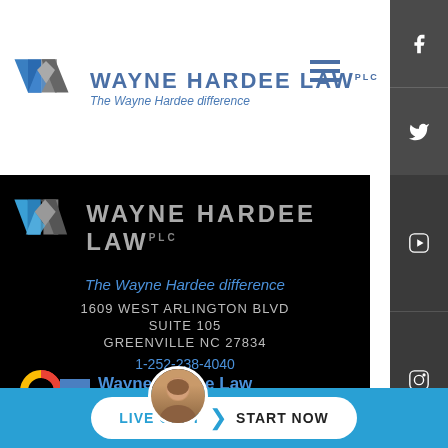[Figure (logo): Wayne Hardee Law firm logo with W symbol in blue and grey, company name and tagline 'The Wayne Hardee difference']
[Figure (logo): Wayne Hardee Law dark theme logo on black background]
1609 WEST ARLINGTON BLVD
SUITE 105
GREENVILLE NC 27834
1-252-238-4040
Wayne Hardee Law
5 out of 5 stars
LIVE CHAT START NOW